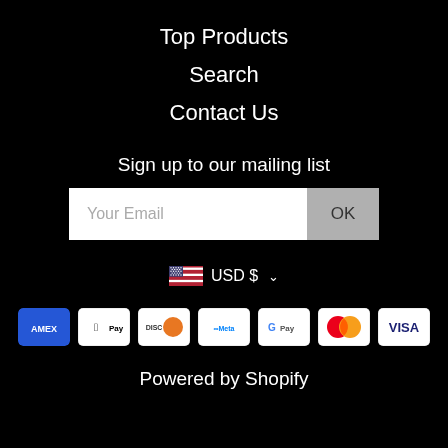Top Products
Search
Contact Us
Sign up to our mailing list
Your Email
OK
USD $
[Figure (infographic): Payment method icons: American Express, Apple Pay, Discover, Meta Pay, Google Pay, Mastercard, Visa]
Powered by Shopify